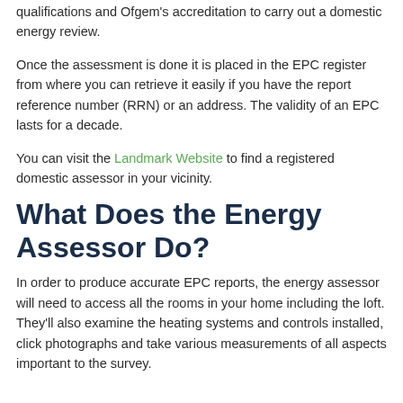qualifications and Ofgem's accreditation to carry out a domestic energy review.
Once the assessment is done it is placed in the EPC register from where you can retrieve it easily if you have the report reference number (RRN) or an address. The validity of an EPC lasts for a decade.
You can visit the Landmark Website to find a registered domestic assessor in your vicinity.
What Does the Energy Assessor Do?
In order to produce accurate EPC reports, the energy assessor will need to access all the rooms in your home including the loft. They'll also examine the heating systems and controls installed, click photographs and take various measurements of all aspects important to the survey.